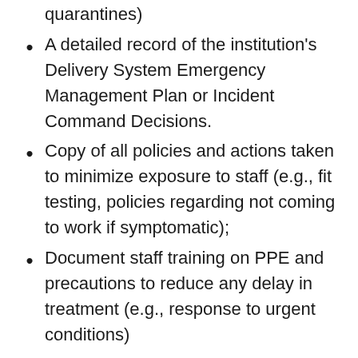quarantines)
A detailed record of the institution's Delivery System Emergency Management Plan or Incident Command Decisions.
Copy of all policies and actions taken to minimize exposure to staff (e.g., fit testing, policies regarding not coming to work if symptomatic);
Document staff training on PPE and precautions to reduce any delay in treatment (e.g., response to urgent conditions)